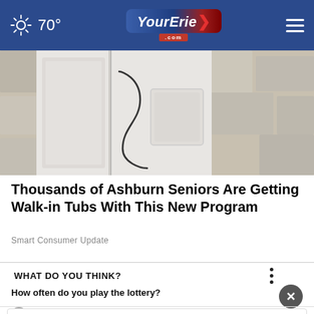70° YourErie.com
[Figure (photo): Close-up photo of a walk-in tub door panel, showing a white/grey bathtub with an S-curve handle and a rectangular panel cutout, with stone background]
Thousands of Ashburn Seniors Are Getting Walk-in Tubs With This New Program
Smart Consumer Update
WHAT DO YOU THINK?
How often do you play the lottery?
[Figure (screenshot): Petco advertisement banner showing: In-store shopping, Curbside pickup with checkmarks, Petco logo, and navigation arrow icon]